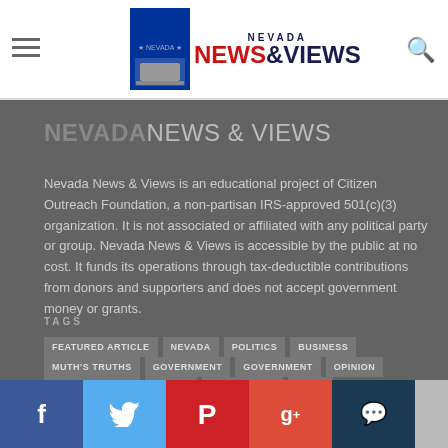Nevada News & Views – header with hamburger menu, logo, search icon
NEVADA NEWS & VIEWS
Nevada News & Views is an educational project of Citizen Outreach Foundation, a non-partisan IRS-approved 501(c)(3) organization. It is not associated or affiliated with any political party or group. Nevada News & Views is accessible by the public at no cost. It funds its operations through tax-deductible contributions from donors and supporters and does not accept government money or grants.
TAGS
FEATURED ARTICLE
NEVADA
POLITICS
BUSINESS
MUTH'S TRUTHS
GOVERNMENT
GOVERNMENT
OPINION
MUTH'S TRUTHS
OBAMA
RON KNECHT
NEWS
Social share bar: Facebook, Twitter, Pinterest, Google+, Comments